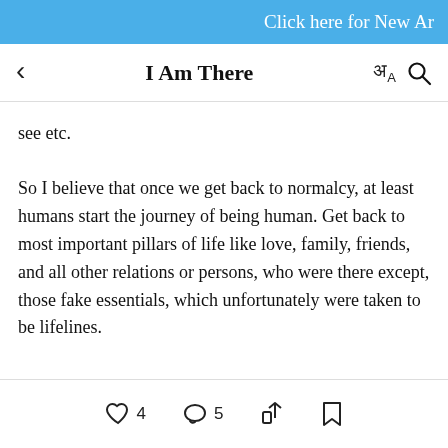Click here for New Ar
I Am There
see etc.
So I believe that once we get back to normalcy, at least humans start the journey of being human. Get back to most important pillars of life like love, family, friends, and all other relations or persons, who were there except, those fake essentials, which unfortunately were taken to be lifelines.
❤ 4  💬 5  share  bookmark